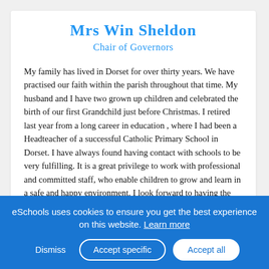Mrs Win Sheldon
Chair of Governors
My family has lived in Dorset for over thirty years. We have practised our faith within the parish throughout that time. My husband and I have two grown up children and celebrated the birth of our first Grandchild just before Christmas. I retired last year from a long career in education, where I had been a Headteacher of a successful Catholic Primary School in Dorset. I have always found having contact with schools to be very fulfilling. It is a great privilege to work with professional and committed staff, who enable children to grow and learn in a safe and happy environment. I look forward to having the opportunity to support the community of St. Mary's and St. Joseph's, which provides the children with a Christian environment which celebrates them as individuals and encourages them to develop positive attitudes to learning.
eSchools uses cookies to ensure you get the best experience on this website. Learn more | Dismiss | Accept specific | Accept all